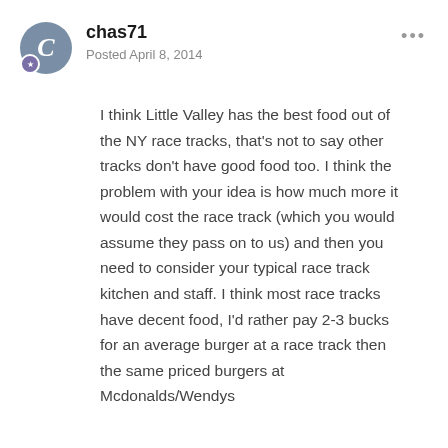chas71 — Posted April 8, 2014
I think Little Valley has the best food out of the NY race tracks, that's not to say other tracks don't have good food too. I think the problem with your idea is how much more it would cost the race track (which you would assume they pass on to us) and then you need to consider your typical race track kitchen and staff. I think most race tracks have decent food, I'd rather pay 2-3 bucks for an average burger at a race track then the same priced burgers at Mcdonalds/Wendys